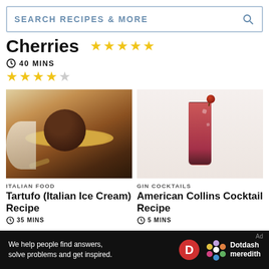[Figure (screenshot): Search bar with text SEARCH RECIPES & MORE and magnifying glass icon]
Cherries
[Figure (other): Five gold stars rating (right side)]
40 MINS
[Figure (other): Four gold stars and one empty star rating]
[Figure (photo): Tartufo Italian ice cream ball on a gold plate with spoon]
ITALIAN FOOD
Tartufo (Italian Ice Cream) Recipe
[Figure (photo): American Collins cocktail in a tall glass with cherry garnish]
GIN COCKTAILS
American Collins Cocktail Recipe
[Figure (other): Ad banner: We help people find answers, solve problems and get inspired. Dotdash Meredith logo]